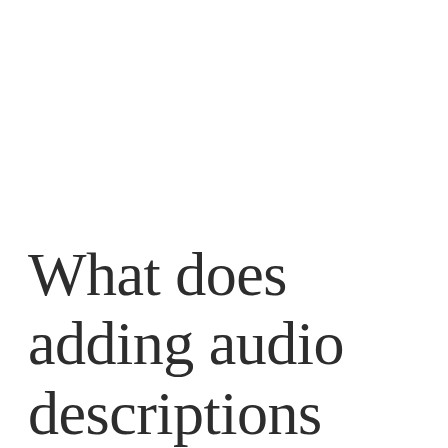What does adding audio descriptions